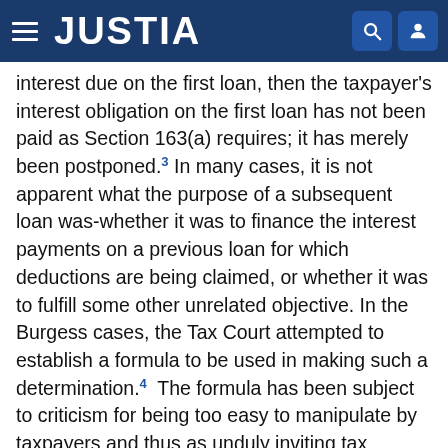JUSTIA
interest due on the first loan, then the taxpayer's interest obligation on the first loan has not been paid as Section 163(a) requires; it has merely been postponed.3 In many cases, it is not apparent what the purpose of a subsequent loan was-whether it was to finance the interest payments on a previous loan for which deductions are being claimed, or whether it was to fulfill some other unrelated objective. In the Burgess cases, the Tax Court attempted to establish a formula to be used in making such a determination.4  The formula has been subject to criticism for being too easy to manipulate by taxpayers and thus as unduly inviting tax evasion. Whether or not this criticism is valid, it is clear that it is unnecessary to apply the formula here, or that if applied here in light of its purpose it could yield only one result. This is because the subsequent loans made by Gibraltar to the Battelsteins-the checks issued by